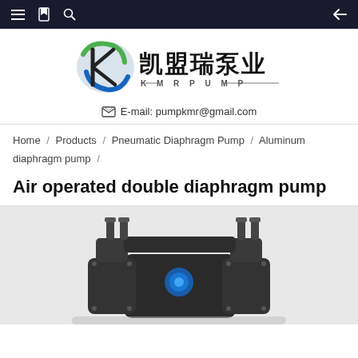Navigation bar with menu, bookmark, search icons and back arrow
[Figure (logo): KMR PUMP company logo with Chinese characters 凯盟瑞泵业 and stylized K emblem in green and blue]
E-mail: pumpkmr@gmail.com
Home / Products / Pneumatic Diaphragm Pump / Aluminum diaphragm pump /
Air operated double diaphragm pump
[Figure (photo): Air operated double diaphragm pump product photo showing a dark/black metallic pump with blue accent, viewed from front, partially cropped at bottom]